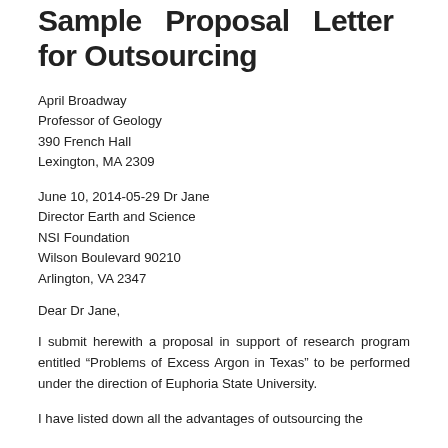Sample Proposal Letter for Outsourcing
April Broadway
Professor of Geology
390 French Hall
Lexington, MA 2309
June 10, 2014-05-29 Dr Jane
Director Earth and Science
NSI Foundation
Wilson Boulevard 90210
Arlington, VA 2347
Dear Dr Jane,
I submit herewith a proposal in support of research program entitled “Problems of Excess Argon in Texas” to be performed under the direction of Euphoria State University.
I have listed down all the advantages of outsourcing the